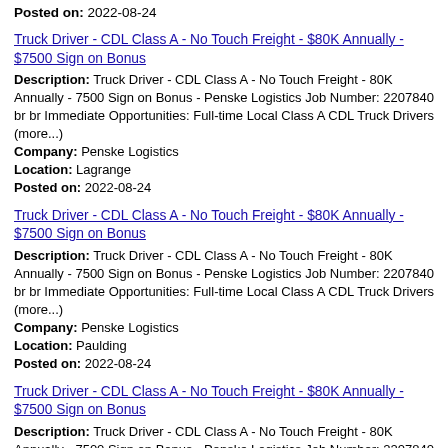Posted on: 2022-08-24
Truck Driver - CDL Class A - No Touch Freight - $80K Annually - $7500 Sign on Bonus
Description: Truck Driver - CDL Class A - No Touch Freight - 80K Annually - 7500 Sign on Bonus - Penske Logistics Job Number: 2207840 br br Immediate Opportunities: Full-time Local Class A CDL Truck Drivers (more...) Company: Penske Logistics Location: Lagrange Posted on: 2022-08-24
Truck Driver - CDL Class A - No Touch Freight - $80K Annually - $7500 Sign on Bonus
Description: Truck Driver - CDL Class A - No Touch Freight - 80K Annually - 7500 Sign on Bonus - Penske Logistics Job Number: 2207840 br br Immediate Opportunities: Full-time Local Class A CDL Truck Drivers (more...) Company: Penske Logistics Location: Paulding Posted on: 2022-08-24
Truck Driver - CDL Class A - No Touch Freight - $80K Annually - $7500 Sign on Bonus
Description: Truck Driver - CDL Class A - No Touch Freight - 80K Annually - 7500 Sign on Bonus - Penske Logistics Job Number: 2207840 Immediate Opportunities: Full-time Local Class A CDL Truck Drivers 80000 Annually (more...)